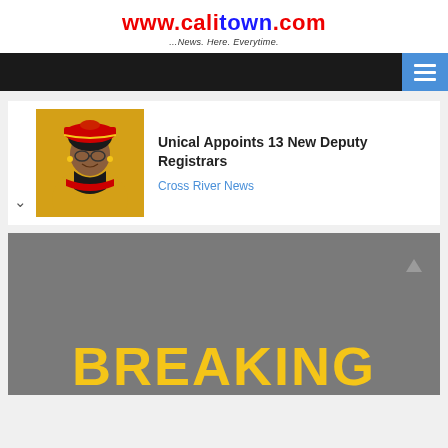www.calitown.com ...News. Here. Everytime.
[Figure (screenshot): Navigation bar with hamburger menu icon on dark background]
[Figure (photo): Woman in academic regalia with red beret and yellow gown]
Unical Appoints 13 New Deputy Registrars
Cross River News
[Figure (infographic): Breaking news banner image with yellow BREAKING text on grey background]